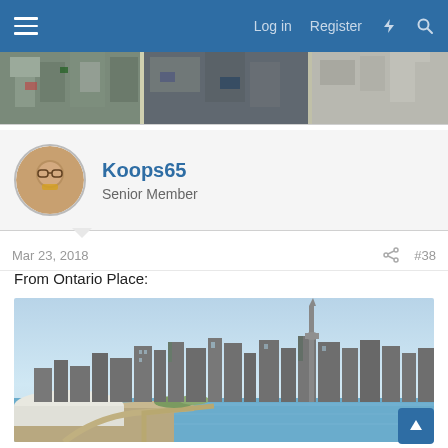Log in   Register   ⚡   🔍
[Figure (screenshot): Aerial view banner image of an urban area, showing buildings and streets from above]
Koops65
Senior Member
Mar 23, 2018   #38
From Ontario Place:
[Figure (screenshot): 3D rendered city skyline view from Ontario Place, showing Toronto-like cityscape with CN Tower in background and waterfront in foreground]